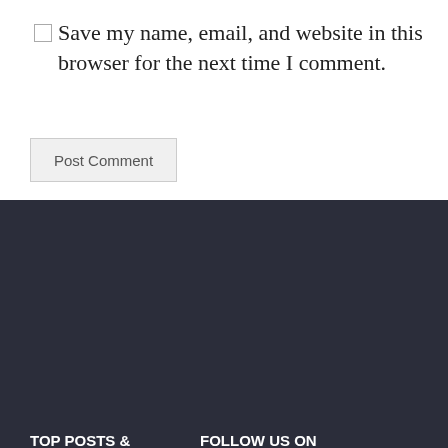Save my name, email, and website in this browser for the next time I comment.
Post Comment
TOP POSTS & PAGES
FOLLOW US ON PINTEREST
Indian Gift Ideas + Traditions, Customs
[Figure (screenshot): Pinterest widget showing Kit's Creative Greeting board with colorful image thumbnails]
[Figure (screenshot): Pinterest widget showing Kit's Funny Gag Gifts board with product image thumbnails]